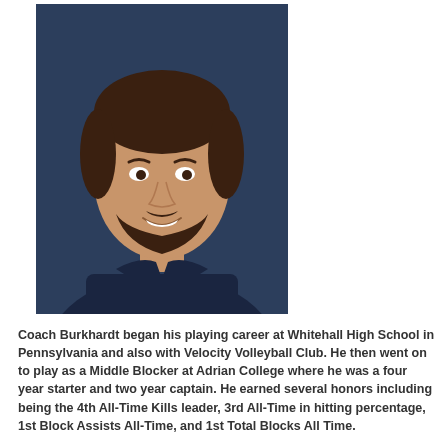[Figure (photo): Headshot of Coach Burkhardt, a young man with dark hair and beard wearing a dark navy polo shirt, photographed against a dark blue background.]
Coach Burkhardt began his playing career at Whitehall High School in Pennsylvania and also with Velocity Volleyball Club. He then went on to play as a Middle Blocker at Adrian College where he was a four year starter and two year captain. He earned several honors including being the 4th All-Time Kills leader, 3rd All-Time in hitting percentage, 1st Block Assists All-Time, and 1st Total Blocks All Time.
Twice, Coach Burkhardt was selected as MVCL Player of the Week. He was 1 of 15 D3/NAIA players selected to play overseas in Italy through Beyond Sports. Coach Burkhardt received